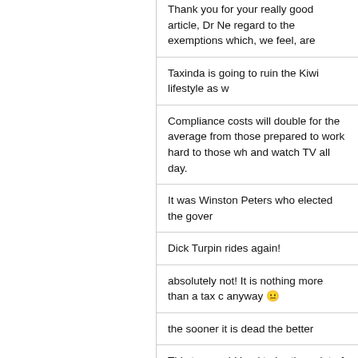Thank you for your really good article, Dr Ne… regard to the exemptions which, we feel, are
Taxinda is going to ruin the Kiwi lifestyle as w
Compliance costs will double for the average… from those prepared to work hard to those wh… and watch TV all day.
It was Winston Peters who elected the gover
Dick Turpin rides again!
absolutely not! It is nothing more than a tax c… anyway 😐
the sooner it is dead the better
This tax would lead to hurting a lot of people
It strikes at the very heart of Kiwi lifestyle phi
No bloody way, I move my company offshore
I am under the impression that iwi are going t
The White and Blue collared NZ workers are… have accountants to invest their clients mone